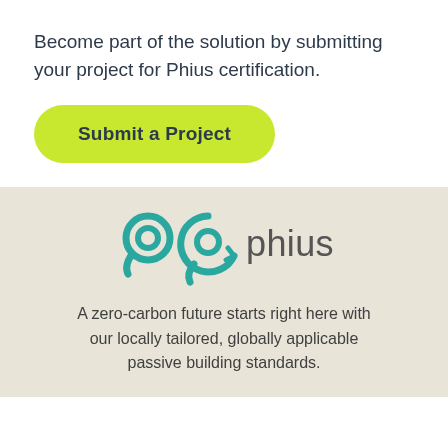Become part of the solution by submitting your project for Phius certification.
[Figure (other): Green pill-shaped button with bold text 'Submit a Project']
[Figure (logo): Phius logo: teal circular arrow/pin icon followed by the word 'phius' in gray]
A zero-carbon future starts right here with our locally tailored, globally applicable passive building standards.